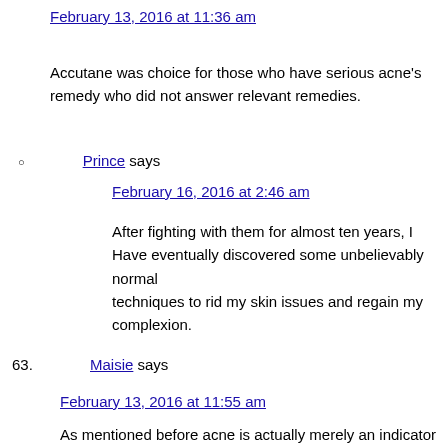February 13, 2016 at 11:36 am
Accutane was choice for those who have serious acne's remedy who did not answer relevant remedies.
Prince says
February 16, 2016 at 2:46 am
After fighting with them for almost ten years, I Have eventually discovered some unbelievably normal techniques to rid my skin issues and regain my complexion.
63. Maisie says
February 13, 2016 at 11:55 am
As mentioned before acne is actually merely an indicator of a larger problem if it is ongoing (not just a